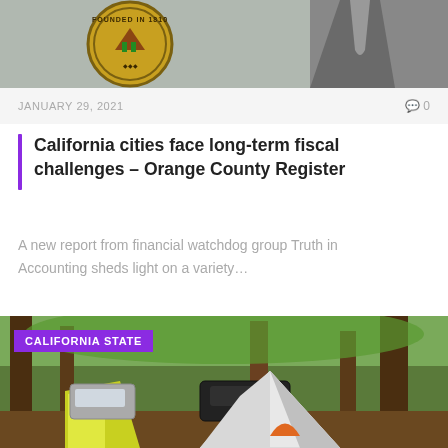[Figure (photo): Top portion of an article image showing a circular seal reading 'Founded in 1810' and a person in a suit jacket]
JANUARY 29, 2021
🗨0
California cities face long-term fiscal challenges – Orange County Register
A new report from financial watchdog group Truth in Accounting sheds light on a variety…
[Figure (photo): Camping scene in a forested area with tents and vehicles; labeled 'CALIFORNIA STATE']